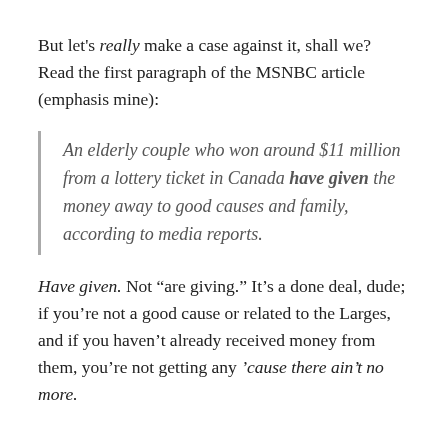But let's really make a case against it, shall we? Read the first paragraph of the MSNBC article (emphasis mine):
An elderly couple who won around $11 million from a lottery ticket in Canada have given the money away to good causes and family, according to media reports.
Have given. Not “are giving.” It’s a done deal, dude; if you’re not a good cause or related to the Larges, and if you haven’t already received money from them, you’re not getting any 'cause there ain’t no more.